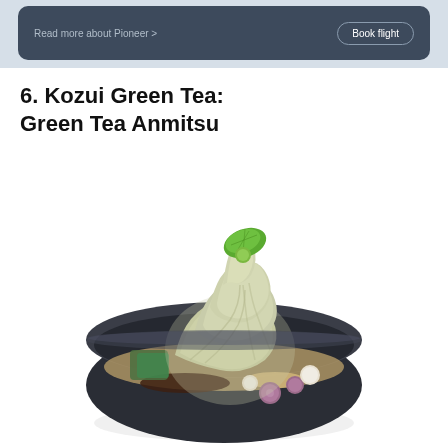[Figure (screenshot): Dark navy rounded rectangle banner with 'Read more about Pioneer >' link text on the left and a 'Book flight' button with rounded border on the right, set on a light blue-grey background]
6. Kozui Green Tea: Green Tea Anmitsu
[Figure (photo): Photo of a Japanese green tea anmitsu dessert served in a dark ceramic bowl. The bowl contains soft-serve matcha green tea ice cream swirled high, topped with a fresh green mint leaf. Below the ice cream are various toppings including green kanten jelly cubes, red bean paste (anko), small purple and white mochi balls (shiratama), and honeycomb jelly pieces in a sweet syrup. The background is white.]